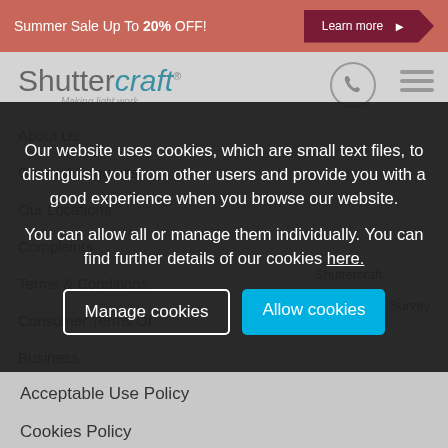Summer Sale Up To 20% OFF! Learn more
[Figure (screenshot): Shuttercraft website logo and navigation in background behind cookie consent overlay]
Our website uses cookies, which are small text files, to distinguish you from other users and provide you with a good experience when you browse our website.
You can allow all or manage them individually. You can find further details of our cookies here.
Manage cookies
Allow cookies
Acceptable Use Policy
Cookies Policy